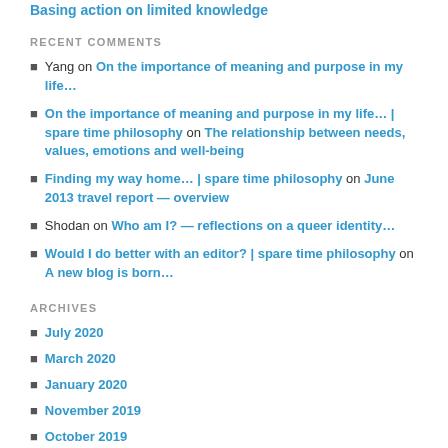Basing action on limited knowledge
RECENT COMMENTS
Yang on On the importance of meaning and purpose in my life…
On the importance of meaning and purpose in my life… | spare time philosophy on The relationship between needs, values, emotions and well-being
Finding my way home… | spare time philosophy on June 2013 travel report — overview
Shodan on Who am I? — reflections on a queer identity…
Would I do better with an editor? | spare time philosophy on A new blog is born…
ARCHIVES
July 2020
March 2020
January 2020
November 2019
October 2019